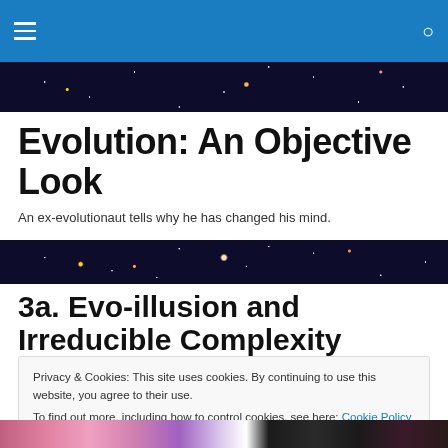Navigation header with hamburger menu and search icon
[Figure (photo): Dark space/galaxy image at top]
Evolution: An Objective Look
An ex-evolutionaut tells why he has changed his mind.
[Figure (photo): Dark space/galaxy image in middle]
3a. Evo-illusion and Irreducible Complexity Revisited
Privacy & Cookies: This site uses cookies. By continuing to use this website, you agree to their use. To find out more, including how to control cookies, see here: Cookie Policy
[Figure (photo): Colorful decorative image at bottom]